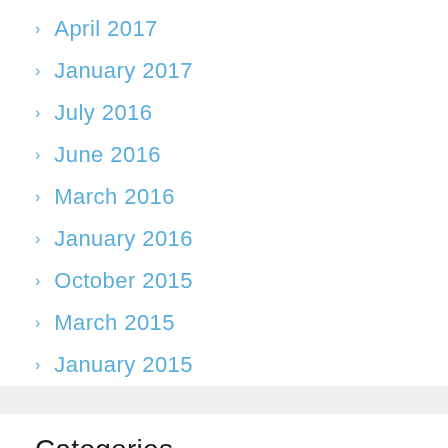April 2017
January 2017
July 2016
June 2016
March 2016
January 2016
October 2015
March 2015
January 2015
Categories